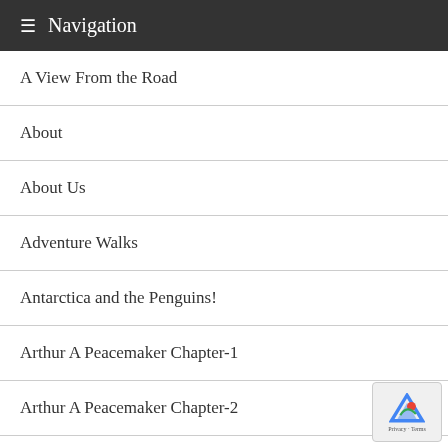Navigation
A View From the Road
About
About Us
Adventure Walks
Antarctica and the Penguins!
Arthur A Peacemaker Chapter-1
Arthur A Peacemaker Chapter-2
Arthur A Peacemaker Chapter-3
Arthur A Peacemaker Chapter-4